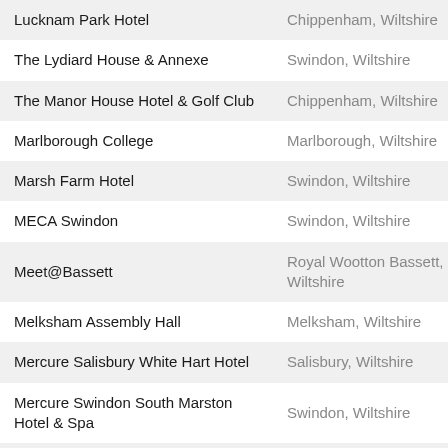| Venue | Location |
| --- | --- |
| Lucknam Park Hotel | Chippenham, Wiltshire |
| The Lydiard House & Annexe | Swindon, Wiltshire |
| The Manor House Hotel & Golf Club | Chippenham, Wiltshire |
| Marlborough College | Marlborough, Wiltshire |
| Marsh Farm Hotel | Swindon, Wiltshire |
| MECA Swindon | Swindon, Wiltshire |
| Meet@Bassett | Royal Wootton Bassett, Wiltshire |
| Melksham Assembly Hall | Melksham, Wiltshire |
| Mercure Salisbury White Hart Hotel | Salisbury, Wiltshire |
| Mercure Swindon South Marston Hotel & Spa | Swindon, Wiltshire |
| Methuen Arms Hotel | Corsham, Wiltshire |
| Mills House | Amesbury, Wiltshire |
| The Moonraker | Bradford on Avon, ... |